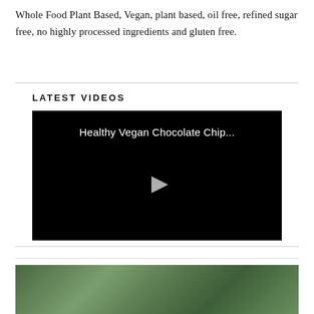Whole Food Plant Based, Vegan, plant based, oil free, refined sugar free, no highly processed ingredients and gluten free.
LATEST VIDEOS
[Figure (screenshot): Video player with black background showing title 'Healthy Vegan Chocolate Chip...' and a play button in the center]
[Figure (photo): Partial image at bottom of page, appears to show food on a wooden surface with green elements]